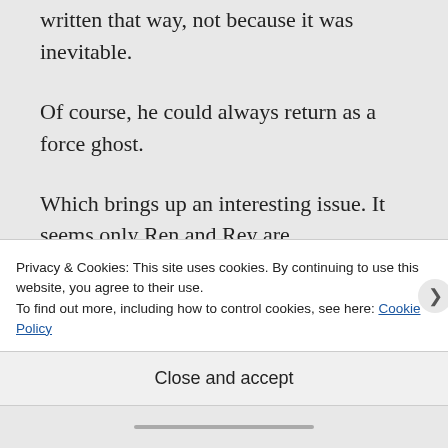written that way, not because it was inevitable.
Of course, he could always return as a force ghost.
Which brings up an interesting issue. It seems only Ren and Rey are “force-capable,” the former being a Sith and the latter a would-be Jedi. But Luke’s dead, and according to the film, there
Privacy & Cookies: This site uses cookies. By continuing to use this website, you agree to their use.
To find out more, including how to control cookies, see here: Cookie Policy
Close and accept